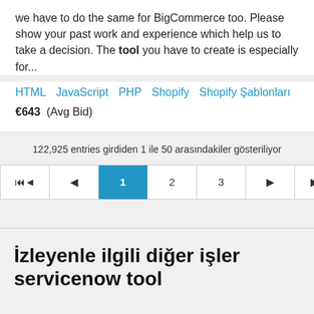we have to do the same for BigCommerce too. Please show your past work and experience which help us to take a decision. The tool you have to create is especially for...
HTML   JavaScript   PHP   Shopify   Shopify Şablonları
€643  (Avg Bid)
122,925 entries girdiden 1 ile 50 arasındakiler gösteriliyor
[Figure (other): Pagination controls showing: first page, previous, page 1 (active/highlighted in blue), page 2, page 3, next, last page]
İzleyenle ilgili diğer işler servicenow tool